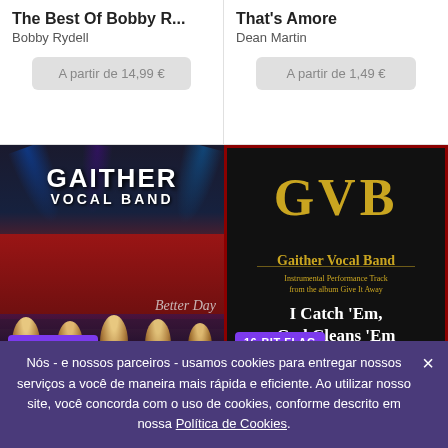The Best Of Bobby R...
Bobby Rydell
A partir de 14,99 €
That's Amore
Dean Martin
A partir de 1,49 €
[Figure (photo): Gaither Vocal Band concert photo with stage lights and performers, album 'Better Day', 16-BIT FLAC badge]
[Figure (illustration): GVB - Gaither Vocal Band album cover black background with gold text, 'I Catch Em, God Cleans Em', 16-BIT FLAC badge]
Better Day
I Catch 'Em God Clean...
Nós - e nossos parceiros - usamos cookies para entregar nossos serviços a você de maneira mais rápida e eficiente. Ao utilizar nosso site, você concorda com o uso de cookies, conforme descrito em nossa Política de Cookies.